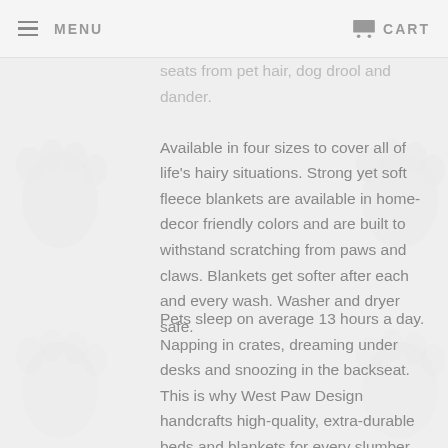MENU   CART
seats from pet hair, dog drool and dander. Available in four sizes to cover all of life's hairy situations. Strong yet soft fleece blankets are available in home-decor friendly colors and are built to withstand scratching from paws and claws. Blankets get softer after each and every wash. Washer and dryer safe.
Pets sleep on average 13 hours a day. Napping in crates, dreaming under desks and snoozing in the backseat. This is why West Paw Design handcrafts high-quality, extra-durable beds and blankets for every slumber situation - with planet friendly touches so owners can sleep tight, too.
West Paw Design is a small manufacturer of high-quality pet products made in Bozeman.